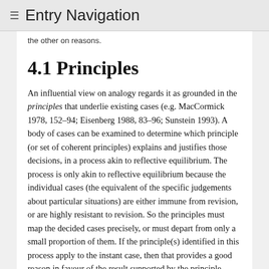≡ Entry Navigation
the other on reasons.
4.1 Principles
An influential view on analogy regards it as grounded in the principles that underlie existing cases (e.g. MacCormick 1978, 152–94; Eisenberg 1988, 83–96; Sunstein 1993). A body of cases can be examined to determine which principle (or set of coherent principles) explains and justifies those decisions, in a process akin to reflective equilibrium. The process is only akin to reflective equilibrium because the individual cases (the equivalent of the specific judgements about particular situations) are either immune from revision, or are highly resistant to revision. So the principles must map the decided cases precisely, or must depart from only a small proportion of them. If the principle(s) identified in this process apply to the instant case, then that provides a good reason in favour of the result supported by the principle.